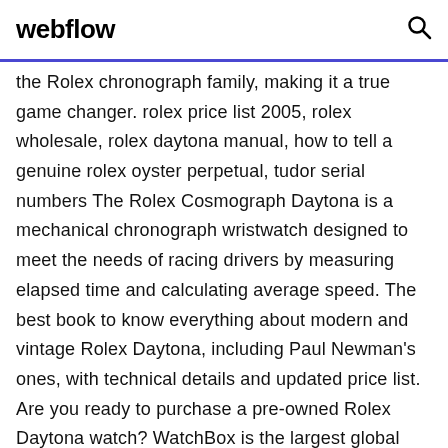webflow
the Rolex chronograph family, making it a true game changer. rolex price list 2005, rolex wholesale, rolex daytona manual, how to tell a genuine rolex oyster perpetual, tudor serial numbers The Rolex Cosmograph Daytona is a mechanical chronograph wristwatch designed to meet the needs of racing drivers by measuring elapsed time and calculating average speed. The best book to know everything about modern and vintage Rolex Daytona, including Paul Newman's ones, with technical details and updated price list. Are you ready to purchase a pre-owned Rolex Daytona watch? WatchBox is the largest global buyer, seller, and trader of Rolex Daytonas. If